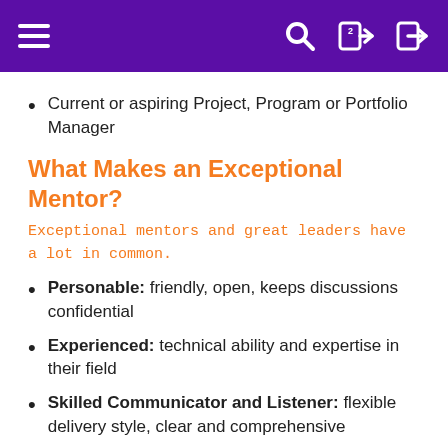Navigation bar with hamburger menu, search, and login icons
Current or aspiring Project, Program or Portfolio Manager
What Makes an Exceptional Mentor?
Exceptional mentors and great leaders have a lot in common.
Personable: friendly, open, keeps discussions confidential
Experienced: technical ability and expertise in their field
Skilled Communicator and Listener: flexible delivery style, clear and comprehensive
Coach: understands that this is a learning process, provides encouragement and advice
Program Benefits